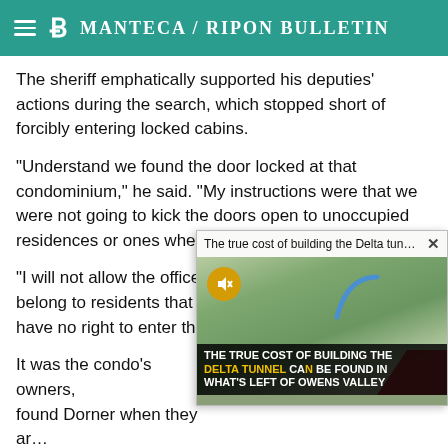Manteca / Ripon Bulletin
The sheriff emphatically supported his deputies' actions during the search, which stopped short of forcibly entering locked cabins.
"Understand we found the door locked at that condominium," he said. "My instructions were that we were not going to kick the doors open to unoccupied residences or ones where nobody answered.
"I will not allow the officers to kick doors open that belong to residents that are not home," he added. "We have no right to enter those residences, regardle…
[Figure (screenshot): Video overlay popup showing: 'The true cost of building the Delta tunn...' with a close button, landscape thumbnail image with mute button, and caption text 'THE TRUE COST OF BUILDING THE DELTA TUNNEL CAN BE FOUND IN WHAT'S LEFT OF OWENS VALLEY']
It was the condo's owners, … found Dorner when they ar… that they assumed the ma… pointed a gun at them, tie… Nissan.